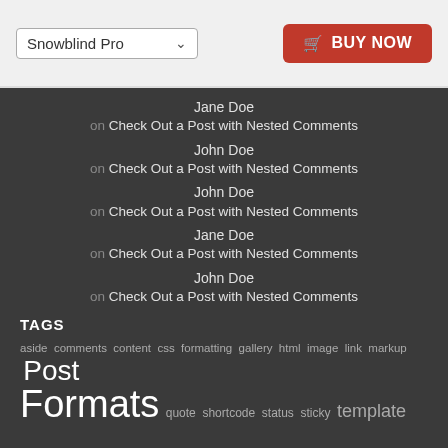[Figure (screenshot): Header bar with 'Snowblind Pro' dropdown selector and red 'BUY NOW' button]
Jane Doe on Check Out a Post with Nested Comments
John Doe on Check Out a Post with Nested Comments
John Doe on Check Out a Post with Nested Comments
Jane Doe on Check Out a Post with Nested Comments
John Doe on Check Out a Post with Nested Comments
TAGS
aside comments content css formatting gallery html image link markup Post Formats quote shortcode status sticky template